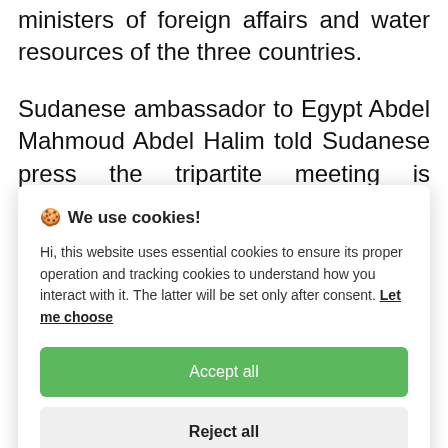ministers of foreign affairs and water resources of the three countries.
Sudanese ambassador to Egypt Abdel Mahmoud Abdel Halim told Sudanese press the tripartite meeting is expected
[Figure (screenshot): Cookie consent modal dialog with title 'We use cookies!', body text about essential and tracking cookies, a green 'Accept all' button, and a grey 'Reject all' button.]
g…